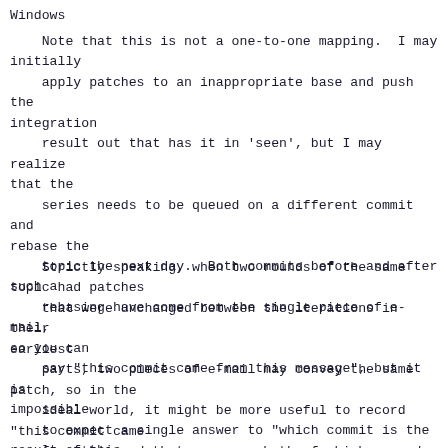Windows
Note that this is not a one-to-one mapping.  I may initially
    apply patches to an inappropriate base and push the integration
    result out that has it in 'seen', but I may realize that the
    series needs to be queued on a different commit and rebase the
    topic the next day.  Both commits before and after such a
    rebasing have come from the single piece of e-mail, so you can
    say "this commit came from this message", but it is impossible
    to expect a single answer to "which commit is the result of this
    message"---there will be multiple.
Strictly speaking, when two rounds of the same topic had patches
    that were unchanged between the iterations in their earliest
    parts, two pieces of e-mail may convey the same patch, so in the
    ideal world, it might be more useful to record "this commit came
    from this and that messges, both of which record an identical